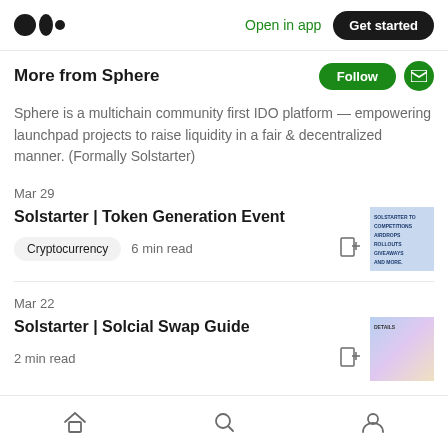Open in app | Get started
More from Sphere
Sphere is a multichain community first IDO platform — empowering launchpad projects to raise liquidity in a fair & decentralized manner. (Formally Solstarter)
Mar 29
Solstarter | Token Generation Event
Cryptocurrency  6 min read
Mar 22
Solstarter | Solcial Swap Guide
2 min read
Home  Search  Profile